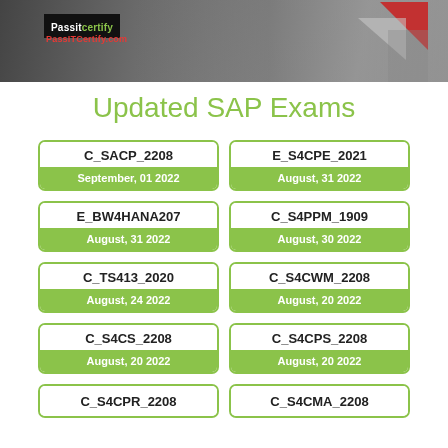[Figure (logo): PassITCertify banner with logo and geometric red triangles in the background]
Updated SAP Exams
| Exam Code | Date | Exam Code | Date |
| --- | --- | --- | --- |
| C_SACP_2208 | September, 01 2022 | E_S4CPE_2021 | August, 31 2022 |
| E_BW4HANA207 | August, 31 2022 | C_S4PPM_1909 | August, 30 2022 |
| C_TS413_2020 | August, 24 2022 | C_S4CWM_2208 | August, 20 2022 |
| C_S4CS_2208 | August, 20 2022 | C_S4CPS_2208 | August, 20 2022 |
| C_S4CPR_2208 |  | C_S4CMA_2208 |  |